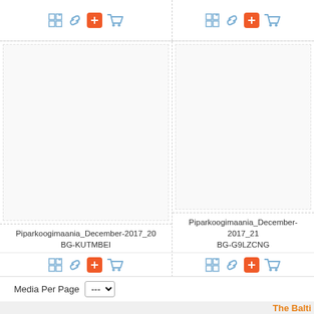[Figure (screenshot): Top toolbar row with grid/link/add/cart icons for two product cards]
[Figure (screenshot): Two product image cards with empty image areas, filenames, and action toolbars. Left card: Piparkoogimaania_December-2017_20 BG-KUTMBEI. Right card: Piparkoogimaania_December-2017_21 BG-G9LZCNG]
Media Per Page ---
The Balti